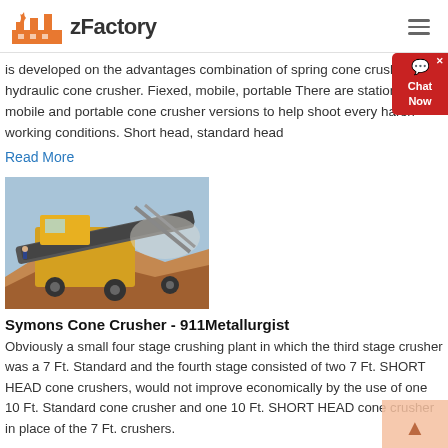zFactory
is developed on the advantages combination of spring cone crusher and hydraulic cone crusher. Fiexed, mobile, portable There are stationary, mobile and portable cone crusher versions to help shoot every harsh working conditions. Short head, standard head
Read More
[Figure (photo): Industrial cone crusher machine operating at a mining or quarrying site, with large yellow machinery and rock/ore material visible.]
Symons Cone Crusher - 911Metallurgist
Obviously a small four stage crushing plant in which the third stage crusher was a 7 Ft. Standard and the fourth stage consisted of two 7 Ft. SHORT HEAD cone crushers, would not improve economically by the use of one 10 Ft. Standard cone crusher and one 10 Ft. SHORT HEAD cone crusher in place of the 7 Ft. crushers.
Read More